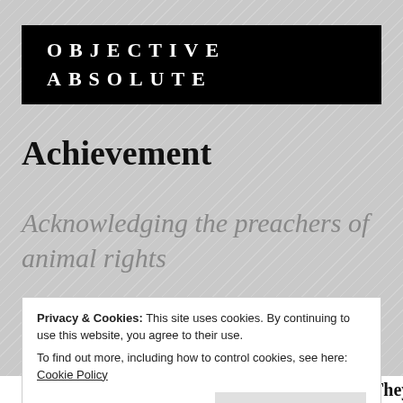OBJECTIVE ABSOLUTE
Achievement
Acknowledging the preachers of animal rights
May 2, 2021
Privacy & Cookies: This site uses cookies. By continuing to use this website, you agree to their use.
To find out more, including how to control cookies, see here: Cookie Policy
Close and accept
strength to avoid their slaughter. We know it. They are